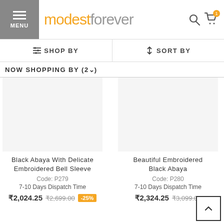modest forever — MENU header with SHOP BY and SORT BY filters
NOW SHOPPING BY (2)
Black Abaya With Delicate Embroidered Bell Sleeve
Code: P279
7-10 Days Dispatch Time
₹2,024.25  ₹2,699.00  -25%
Beautiful Embroidered Black Abaya
Code: P280
7-10 Days Dispatch Time
₹2,324.25  ₹3,099.00